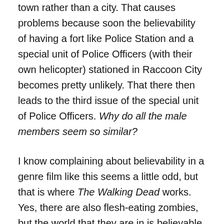town rather than a city. That causes problems because soon the believability of having a fort like Police Station and a special unit of Police Officers (with their own helicopter) stationed in Raccoon City becomes pretty unlikely. That there then leads to the third issue of the special unit of Police Officers. Why do all the male members seem so similar?
I know complaining about believability in a genre film like this seems a little odd, but that is where The Walking Dead works. Yes, there are also flesh-eating zombies, but the world that they are in is believable. As an audience member, I could find myself relating to the situations that the characters were in, however, with Resident Evil: Welcome to Raccoon City, I never found that at all.
If Roberts had wanted this to be a plausible film, he